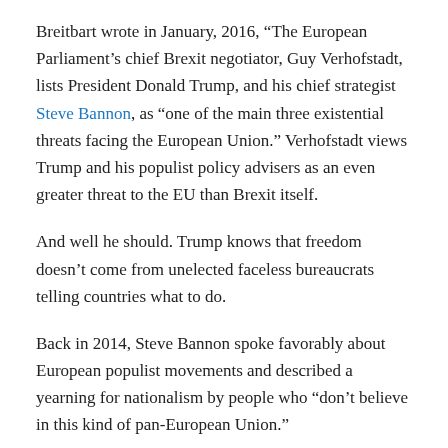Breitbart wrote in January, 2016, “The European Parliament’s chief Brexit negotiator, Guy Verhofstadt, lists President Donald Trump, and his chief strategist Steve Bannon, as “one of the main three existential threats facing the European Union.” Verhofstadt views Trump and his populist policy advisers as an even greater threat to the EU than Brexit itself.
And well he should. Trump knows that freedom doesn’t come from unelected faceless bureaucrats telling countries what to do.
Back in 2014, Steve Bannon spoke favorably about European populist movements and described a yearning for nationalism by people who “don’t believe in this kind of pan-European Union.”
Do you have…